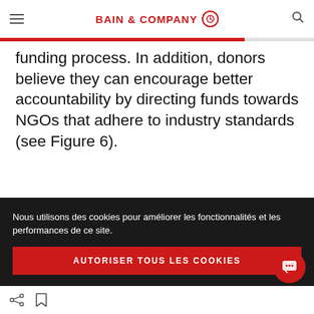BAIN & COMPANY
funding process. In addition, donors believe they can encourage better accountability by directing funds towards NGOs that adhere to industry standards (see Figure 6).
Figure 6: Donors believe there are several ways to create better impact
Nous utilisons des cookies pour améliorer les fonctionnalités et les performances de ce site.
AUTORISER TOUS LES COOKIES